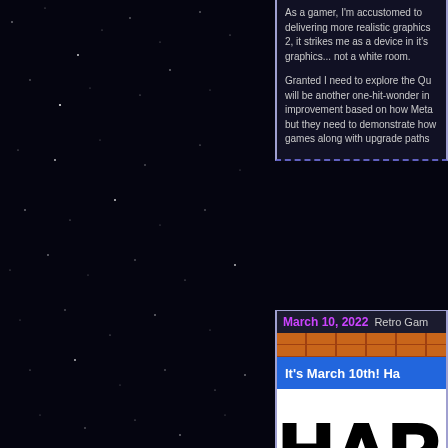As a gamer, I'm accustomed to delivering more realistic graphics 2, it strikes me as a device in it's graphics... not a white room.

Granted I need to explore the Qu will be another one-hit-wonder in improvement based on how Meta but they need to demonstrate how games along with upgrade paths
March 10, 2022   Retro Gam
It's March 10th! Ha
[Figure (illustration): Partial text reading 'HAP' in large bold black letters on white background, appearing to be part of a 'Happy' or similar word]